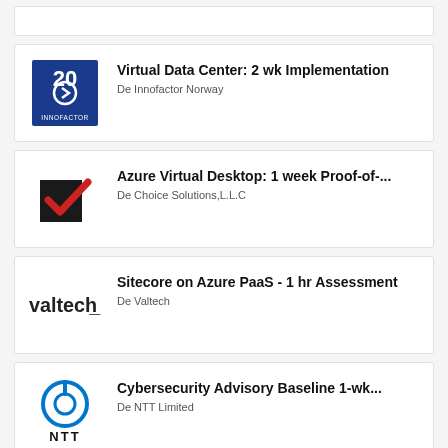(partial card - top of page)
Virtual Data Center: 2 wk Implementation
De Innofactor Norway
Azure Virtual Desktop: 1 week Proof-of-...
De Choice Solutions,L.L.C
Sitecore on Azure PaaS - 1 hr Assessment
De Valtech
Cybersecurity Advisory Baseline 1-wk...
De NTT Limited